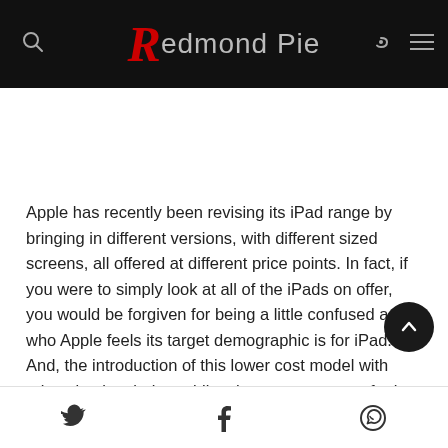Redmond Pie
Apple has recently been revising its iPad range by bringing in different versions, with different sized screens, all offered at different price points. In fact, if you were to simply look at all of the iPads on offer, you would be forgiven for being a little confused as to who Apple feels its target demographic is for iPad. And, the introduction of this lower cost model with education in mind, muddies those waters even further.
Twitter | Facebook | WhatsApp share icons